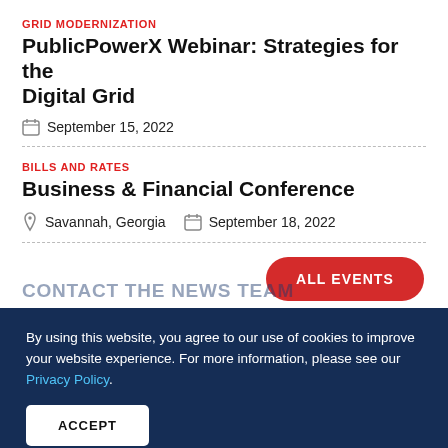GRID MODERNIZATION
PublicPowerX Webinar: Strategies for the Digital Grid
September 15, 2022
BILLS AND RATES
Business & Financial Conference
Savannah, Georgia   September 18, 2022
ALL EVENTS
CONTACT THE NEWS TEAM
By using this website, you agree to our use of cookies to improve your website experience. For more information, please see our Privacy Policy.
ACCEPT